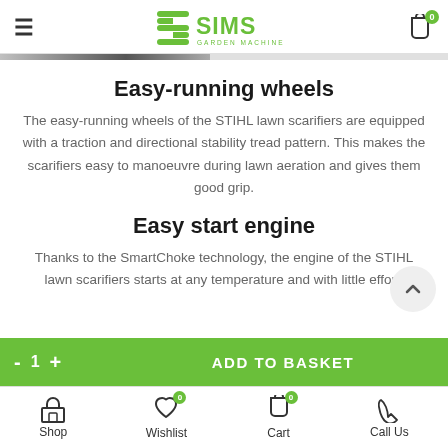SIMS GARDEN MACHINERY — navigation header with hamburger menu and cart
Easy-running wheels
The easy-running wheels of the STIHL lawn scarifiers are equipped with a traction and directional stability tread pattern. This makes the scarifiers easy to manoeuvre during lawn aeration and gives them good grip.
Easy start engine
Thanks to the SmartChoke technology, the engine of the STIHL lawn scarifiers starts at any temperature and with little effort.
- 1 + ADD TO BASKET | Shop | Wishlist 0 | Cart 0 | Call Us